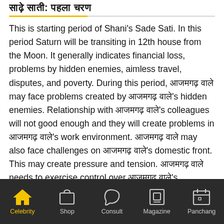साढ़े साती: पहला चरण
This is starting period of Shani's Sade Sati. In this period Saturn will be transiting in 12th house from the Moon. It generally indicates financial loss, problems by hidden enemies, aimless travel, disputes, and poverty. During this period, [Hindi name] may face problems created by [Hindi name]'s hidden enemies. Relationship with [Hindi name]'s colleagues will not good enough and they will create problems in [Hindi name]'s work environment. [Hindi name] may also face challenges on [Hindi name]'s domestic front. This may create pressure and tension. [Hindi name] needs to exercise control over [Hindi name]'s spending otherwise it be lead to bigger financial problems and...
Celebrity | Shop | Consult | Magazine | Panchang